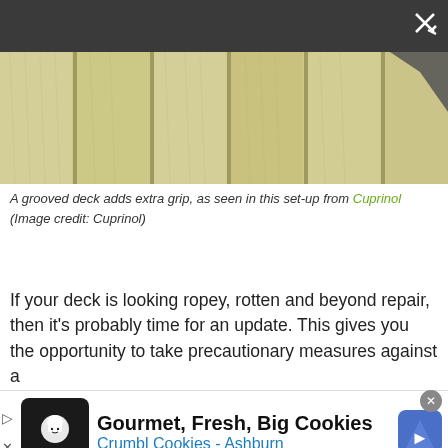[Figure (photo): Close-up photo of grooved wooden deck boards in a light tan/cream color, with visible wood grain texture running diagonally. A dark grey object is partially visible at the top right corner.]
A grooved deck adds extra grip, as seen in this set-up from Cuprinol
(Image credit: Cuprinol)
If your deck is looking ropey, rotten and beyond repair, then it's probably time for an update. This gives you the opportunity to take precautionary measures against a
[Figure (other): Advertisement banner for Crumbl Cookies - Ashburn showing a chef logo icon, text 'Gourmet, Fresh, Big Cookies' and 'Crumbl Cookies - Ashburn', with a blue diamond navigation arrow icon.]